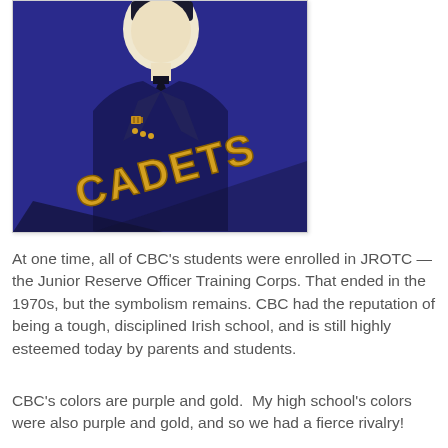[Figure (illustration): Illustration of a cadet mascot in a blue/purple uniform jacket with 'CADETS' text in gold letters on a purple background]
At one time, all of CBC's students were enrolled in JROTC — the Junior Reserve Officer Training Corps. That ended in the 1970s, but the symbolism remains. CBC had the reputation of being a tough, disciplined Irish school, and is still highly esteemed today by parents and students.
CBC's colors are purple and gold.  My high school's colors were also purple and gold, and so we had a fierce rivalry!